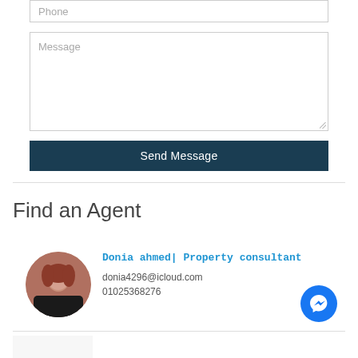[Figure (screenshot): Phone input field with placeholder text]
[Figure (screenshot): Message textarea with placeholder text]
Send Message
Find an Agent
[Figure (photo): Circular profile photo of property consultant]
Donia ahmed| Property consultant
donia4296@icloud.com
01025368276